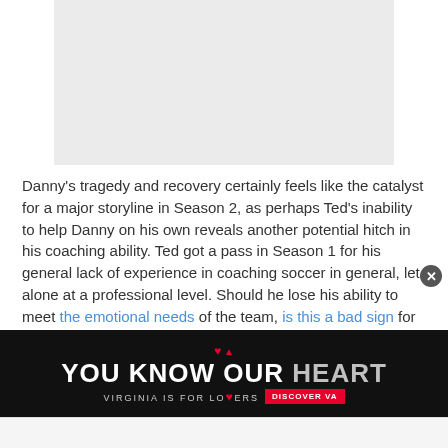[Figure (other): Gray placeholder rectangle for an advertisement or image at the top of the page]
Danny's tragedy and recovery certainly feels like the catalyst for a major storyline in Season 2, as perhaps Ted's inability to help Danny on his own reveals another potential hitch in his coaching ability. Ted got a pass in Season 1 for his general lack of experience in coaching soccer in general, let alone at a professional level. Should he lose his ability to meet the emotional needs of the team, is this a bad sign for his tenure with the team?
[Figure (other): Advertisement banner: 'YOU KNOW OUR HEART' - Virginia is for Lovers tourism ad with red hearts, black background, white and gray bold text, DISCOVER VA red button]